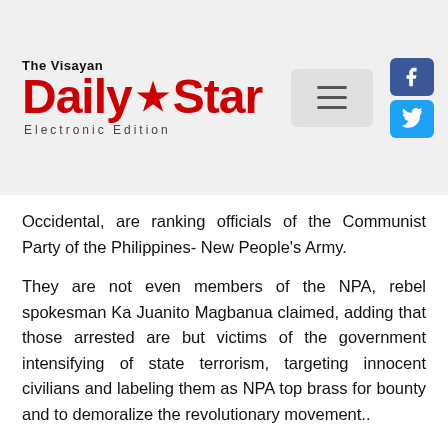The Visayan Daily Star Electronic Edition
Occidental, are ranking officials of the Communist Party of the Philippines- New People's Army.
They are not even members of the NPA, rebel spokesman Ka Juanito Magbanua claimed, adding that those arrested are but victims of the government intensifying of state terrorism, targeting innocent civilians and labeling them as NPA top brass for bounty and to demoralize the revolutionary movement..
Maj. Cenon Pancito III, Public Affairs Office chief of the 3rd Infantry Division, said yesterday that there is nothing new in the denial of Magbanua, stressing that they are masters in making excuses each time their group